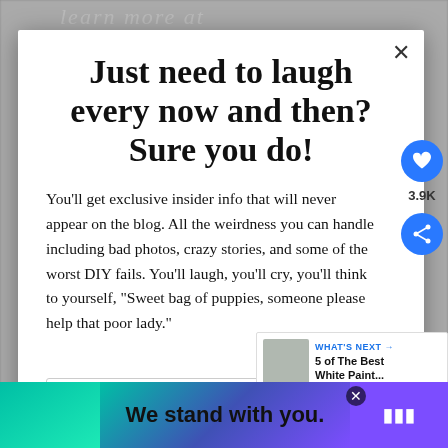[Figure (screenshot): Background blurred page with cursive text 'learn more at' visible at top]
Just need to laugh every now and then? Sure you do!
You'll get exclusive insider info that will never appear on the blog. All the weirdness you can handle including bad photos, crazy stories, and some of the worst DIY fails. You'll laugh, you'll cry, you'll think to yourself, "Sweet bag of puppies, someone please help that poor lady."
First name
[Figure (infographic): Social share sidebar with heart icon button (blue circle), count label 3.9K, and share icon button (blue circle)]
[Figure (infographic): WHAT'S NEXT widget showing thumbnail image and text '5 of The Best White Paint...']
[Figure (infographic): Bottom advertisement banner with teal-to-purple gradient and text 'We stand with you.' and close button and logo]